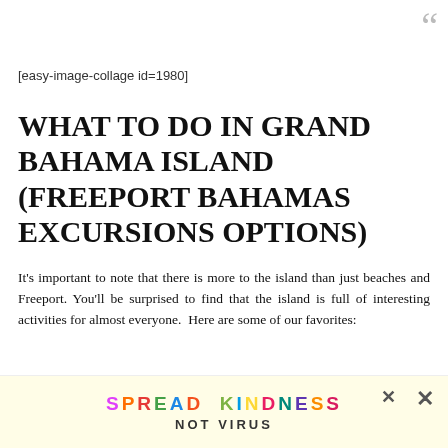[Figure (other): Decorative quotation mark graphic in gray at top right]
[easy-image-collage id=1980]
WHAT TO DO IN GRAND BAHAMA ISLAND (FREEPORT BAHAMAS EXCURSIONS OPTIONS)
It's important to note that there is more to the island than just beaches and Freeport. You'll be surprised to find that the island is full of interesting activities for almost everyone.  Here are some of our favorites:
SWIM WITH THE FISHES (OR SHARKS AND STINGRAYS):  Yes, you can do this, but we really recommend taking a tour with Keith who will not only show you are the Cays (pronounced "keys") but also [text continues] Stingrays. He's host [text continues]
[Figure (other): Spread Kindness Not Virus advertisement banner with colorful text and close buttons]